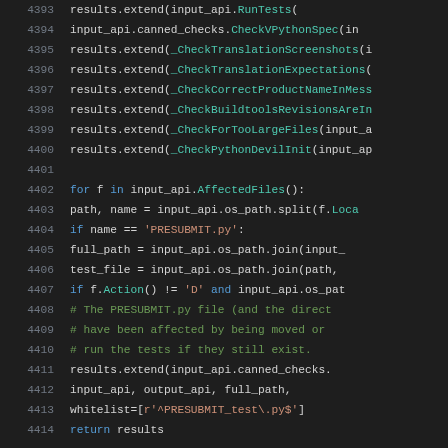[Figure (screenshot): Source code screenshot showing Python code lines 4393–4414 with syntax highlighting on dark background. Code shows results.extend calls, a for loop over input_api.AffectedFiles(), path/name splitting, PRESUBMIT.py checks, and return results.]